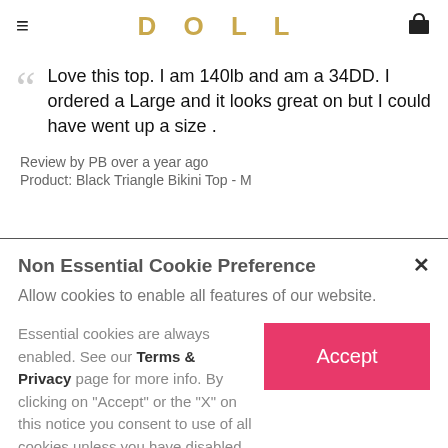DOLL
Love this top. I am 140lb and am a 34DD. I ordered a Large and it looks great on but I could have went up a size .
Review by PB over a year ago
Product: Black Triangle Bikini Top - M
Non Essential Cookie Preference
Allow cookies to enable all features of our website.
Essential cookies are always enabled. See our Terms & Privacy page for more info. By clicking on "Accept" or the "X" on this notice you consent to use of all cookies unless you have disabled them.